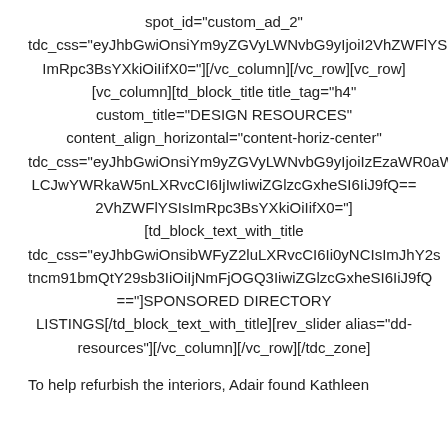spot_id="custom_ad_2" tdc_css="eyJhbGwiOnsiYm9yZGVyLWNvbG9yIjoiI2VhZWFlYSIsImRpc3BsYXkiOiIifX0="][/vc_column][/vc_row][vc_row][vc_column][td_block_title title_tag="h4" custom_title="DESIGN RESOURCES" content_align_horizontal="content-horiz-center" tdc_css="eyJhbGwiOnsiYm9yZGVyLWNvbG9yIjoiIzEzaWR0aWEiLCJwYWRkaW5nLXRvcCI6IjIwIiwiZGlzcGxheSI6IiJ9fQ=="][td_block_text_with_title tdc_css="eyJhbGwiOnsibWFyZ2luLXRvcCI6Ii0yMCIsImRpc3BsYXkiOiIifX0="]SPONSORED DIRECTORY LISTINGS[/td_block_text_with_title][rev_slider alias="dd-resources"][/vc_column][/vc_row][/tdc_zone]
To help refurbish the interiors, Adair found Kathleen